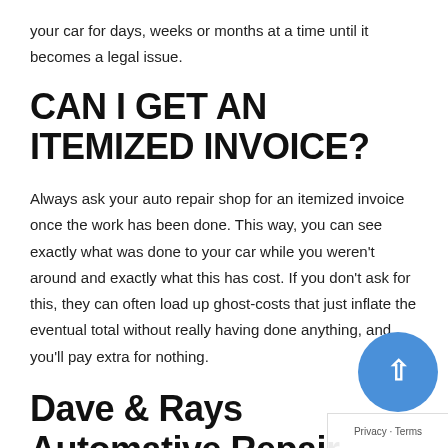your car for days, weeks or months at a time until it becomes a legal issue.
CAN I GET AN ITEMIZED INVOICE?
Always ask your auto repair shop for an itemized invoice once the work has been done. This way, you can see exactly what was done to your car while you weren't around and exactly what this has cost. If you don't ask for this, they can often load up ghost-costs that just inflate the eventual total without really having done anything, and you'll pay extra for nothing.
Dave & Rays Automative Repair Shop in Omaha, NE
Our team has learned one thing: automotive problems are as